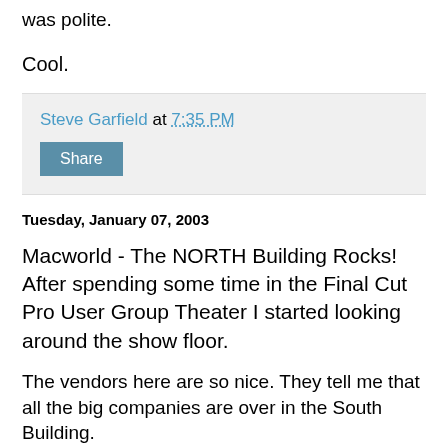was polite.
Cool.
Steve Garfield at 7:35 PM
Share
Tuesday, January 07, 2003
Macworld - The NORTH Building Rocks! After spending some time in the Final Cut Pro User Group Theater I started looking around the show floor.
The vendors here are so nice. They tell me that all the big companies are over in the South Building.
Less is More. So I started off in a booth where a guy made a man disappear. It's this software called mokey. It actually takes a series of still images that you took on your video camera and